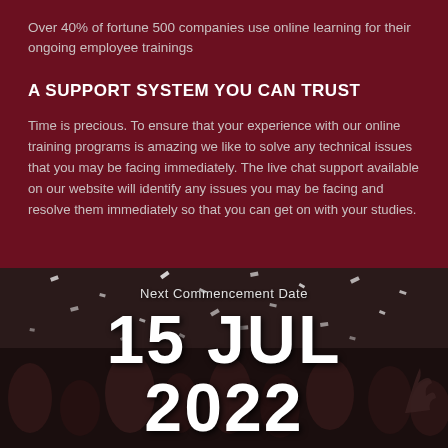Over 40% of fortune 500 companies use online learning for their ongoing employee trainings
A SUPPORT SYSTEM YOU CAN TRUST
Time is precious. To ensure that your experience with our online training programs is amazing we like to solve any technical issues that you may be facing immediately. The live chat support available on our website will identify any issues you may be facing and resolve them immediately so that you can get on with your studies.
[Figure (photo): Crowd of people celebrating with confetti, used as background for commencement date overlay]
Next Commencement Date
15 JUL 2022